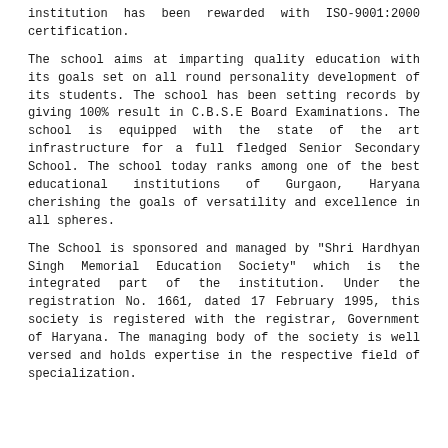institution has been rewarded with ISO-9001:2000 certification.
The school aims at imparting quality education with its goals set on all round personality development of its students. The school has been setting records by giving 100% result in C.B.S.E Board Examinations. The school is equipped with the state of the art infrastructure for a full fledged Senior Secondary School. The school today ranks among one of the best educational institutions of Gurgaon, Haryana cherishing the goals of versatility and excellence in all spheres.
The School is sponsored and managed by "Shri Hardhyan Singh Memorial Education Society" which is the integrated part of the institution. Under the registration No. 1661, dated 17 February 1995, this society is registered with the registrar, Government of Haryana. The managing body of the society is well versed and holds expertise in the respective field of specialization.